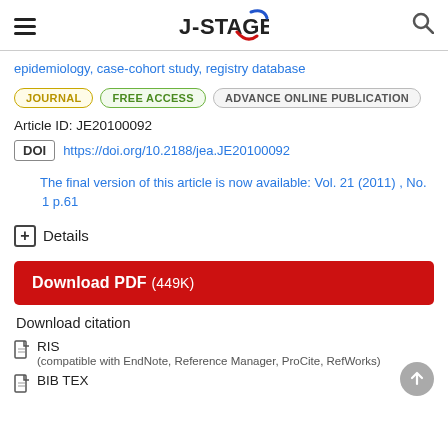J-STAGE
epidemiology, case-cohort study, registry database
JOURNAL  FREE ACCESS  ADVANCE ONLINE PUBLICATION
Article ID: JE20100092
DOI  https://doi.org/10.2188/jea.JE20100092
The final version of this article is now available: Vol. 21 (2011) , No. 1 p.61
+ Details
Download PDF (449K)
Download citation
RIS
(compatible with EndNote, Reference Manager, ProCite, RefWorks)
BIB TEX